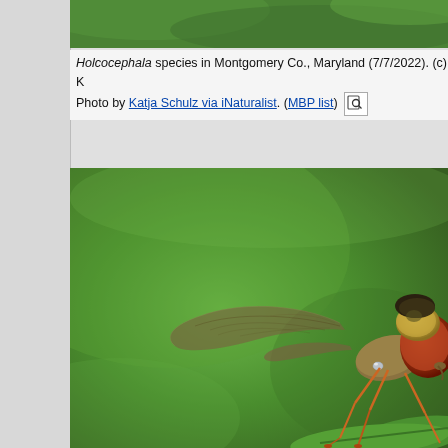[Figure (photo): Top strip: close-up macro photo of green foliage background, partially cropped]
Holcocephala species in Montgomery Co., Maryland (7/7/2022). (c) K [truncated]. Photo by Katja Schulz via iNaturalist. (MBP list)
[Figure (photo): Large macro close-up photograph of a Holcocephala robber fly species. The insect is shown on a green leaf against a blurred bright green background. The fly has large reddish compound eyes, a yellowish-tan face with dark markings on top of the head, brown translucent wings folded back, and orange-brown legs. The image is cropped and focuses on the head, thorax, and wings of the insect.]